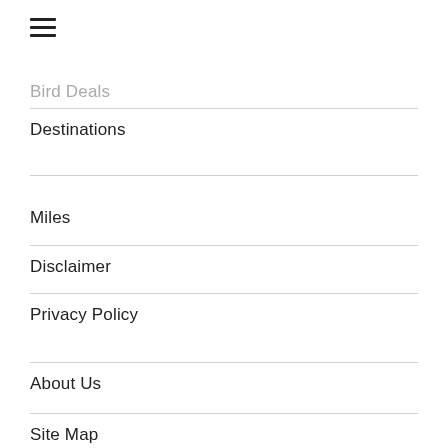[Figure (other): Hamburger menu icon (three horizontal lines)]
Bird Deals
Destinations
Miles
Disclaimer
Privacy Policy
About Us
Site Map